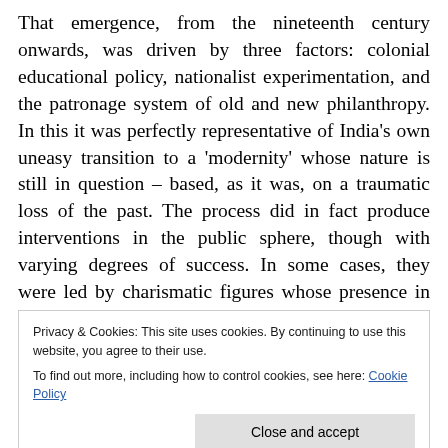That emergence, from the nineteenth century onwards, was driven by three factors: colonial educational policy, nationalist experimentation, and the patronage system of old and new philanthropy. In this it was perfectly representative of India's own uneasy transition to a 'modernity' whose nature is still in question – based, as it was, on a traumatic loss of the past. The process did in fact produce interventions in the public sphere, though with varying degrees of success. In some cases, they were led by charismatic figures whose presence in the university drew it into the urgency of the historical
Privacy & Cookies: This site uses cookies. By continuing to use this website, you agree to their use.
To find out more, including how to control cookies, see here: Cookie Policy
note tended to erase what was distinctive about each